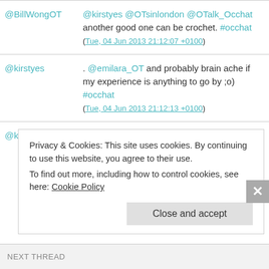@BillWongOT | @kirstyes @OTsinlondon @OTalk_Occhat another good one can be crochet. #occhat (Tue, 04 Jun 2013 21:12:07 +0100)
@kirstyes | . @emilara_OT and probably brain ache if my experience is anything to go by ;o) #occhat (Tue, 04 Jun 2013 21:12:13 +0100)
@kirstyes | @_beckyOT @BoothRach @GillyGorry Here you go –
Privacy & Cookies: This site uses cookies. By continuing to use this website, you agree to their use.
To find out more, including how to control cookies, see here: Cookie Policy
Close and accept